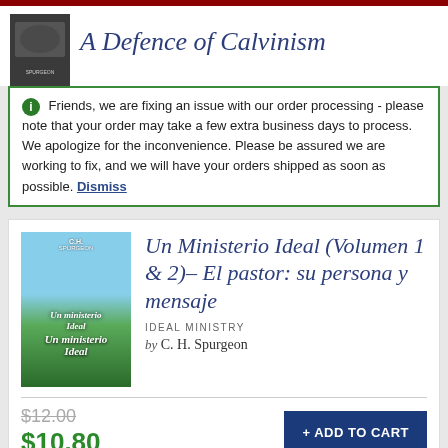[Figure (photo): Book cover thumbnail for A Defence of Calvinism, dark/group image]
A Defence of Calvinism
Friends, we are fixing an issue with our order processing - please note that your order may take a few extra business days to process. We apologize for the inconvenience. Please be assured we are working to fix, and we will have your orders shipped as soon as possible. Dismiss
[Figure (photo): Book cover for Un Ministerio Ideal - green grass field with sky background, C.H. Spurgeon author label]
Un Ministerio Ideal (Volumen 1 & 2)– El pastor: su persona y mensaje
IDEAL MINISTRY
by C. H. Spurgeon
$12.00 $10.80